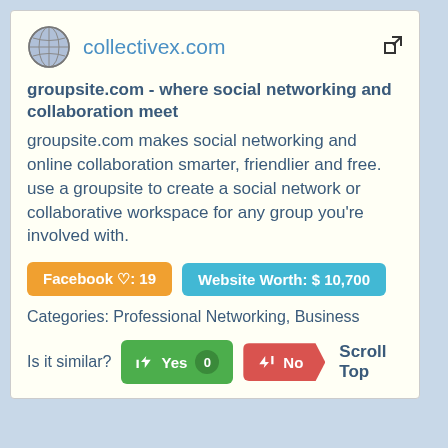collectivex.com
groupsite.com - where social networking and collaboration meet
groupsite.com makes social networking and online collaboration smarter, friendlier and free. use a groupsite to create a social network or collaborative workspace for any group you're involved with.
Facebook ♡: 19   Website Worth: $ 10,700
Categories: Professional Networking, Business
Is it similar?  Yes 0   No   Scroll Top